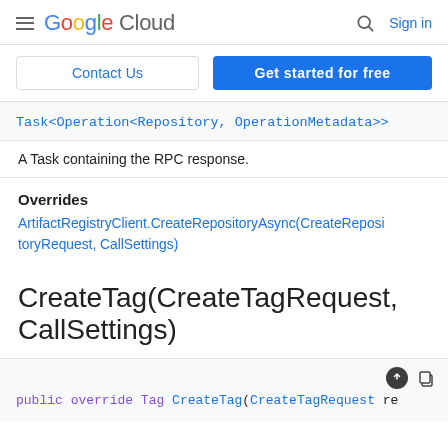Google Cloud  [search] Sign in
Contact Us   Get started for free
Task<Operation<Repository, OperationMetadata>>
A Task containing the RPC response.
Overrides
ArtifactRegistryClient.CreateRepositoryAsync(CreateRepositoryRequest, CallSettings)
CreateTag(CreateTagRequest, CallSettings)
public override Tag CreateTag(CreateTagRequest re